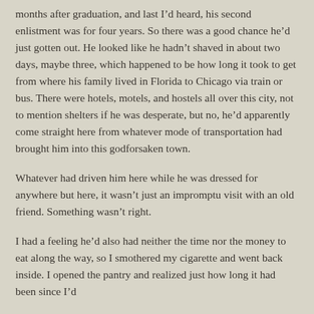months after graduation, and last I'd heard, his second enlistment was for four years. So there was a good chance he'd just gotten out. He looked like he hadn't shaved in about two days, maybe three, which happened to be how long it took to get from where his family lived in Florida to Chicago via train or bus. There were hotels, motels, and hostels all over this city, not to mention shelters if he was desperate, but no, he'd apparently come straight here from whatever mode of transportation had brought him into this godforsaken town.
Whatever had driven him here while he was dressed for anywhere but here, it wasn't just an impromptu visit with an old friend. Something wasn't right.
I had a feeling he'd also had neither the time nor the money to eat along the way, so I smothered my cigarette and went back inside. I opened the pantry and realized just how long it had been since I'd